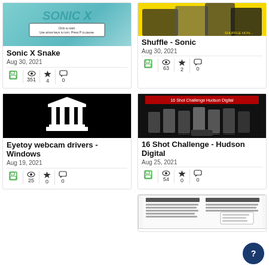[Figure (screenshot): Sonic X Snake game screenshot with teal background]
Sonic X Snake
Aug 30, 2021
351 views, 4 stars, 0 comments
[Figure (screenshot): Shuffle - Sonic game screenshot with yellow background]
Shuffle - Sonic
Aug 30, 2021
63 views, 2 stars, 0 comments
[Figure (screenshot): Eyetoy webcam drivers Windows - black background with white Greek temple icon]
Eyetoy webcam drivers - Windows
Aug 19, 2021
25 views, 0 stars, 0 comments
[Figure (screenshot): 16 Shot Challenge - Hudson Digital game screenshot with dark background and Japanese text]
16 Shot Challenge - Hudson Digital
Aug 25, 2021
54 views, 0 stars, 0 comments
[Figure (screenshot): Document/manual page partially visible]